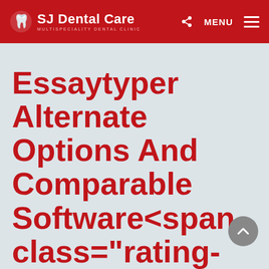SJ Dental Care MULTISPECIALITY DENTAL CLINIC
Essaytyper Alternate Options And Comparable Software<span class="rating-result after_title mr-filter rating-result-2331"><span class="no-